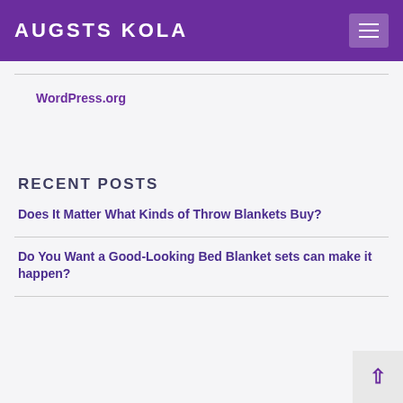AUGSTS KOLA
WordPress.org
RECENT POSTS
Does It Matter What Kinds of Throw Blankets Buy?
Do You Want a Good-Looking Bed Blanket sets can make it happen?